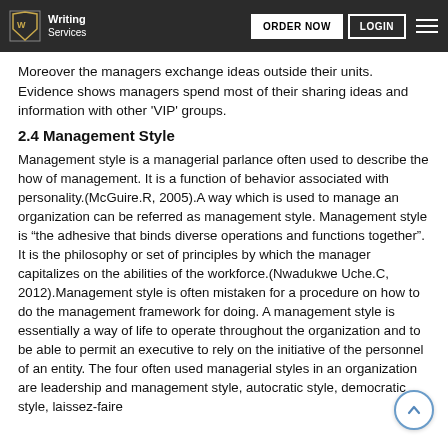Writing Services | ORDER NOW | LOGIN
Moreover the managers exchange ideas outside their units. Evidence shows managers spend most of their sharing ideas and information with other ‘VIP’ groups.
2.4 Management Style
Management style is a managerial parlance often used to describe the how of management. It is a function of behavior associated with personality.(McGuire.R, 2005).A way which is used to manage an organization can be referred as management style. Management style is “the adhesive that binds diverse operations and functions together”. It is the philosophy or set of principles by which the manager capitalizes on the abilities of the workforce.(Nwadukwe Uche.C, 2012).Management style is often mistaken for a procedure on how to do the management framework for doing. A management style is essentially a way of life to operate throughout the organization and to be able to permit an executive to rely on the initiative of the personnel of an entity. The four often used managerial styles in an organization are leadership and management style, autocratic style, democratic style, laissez-faire.